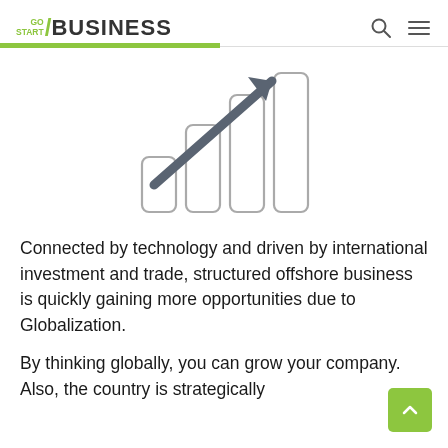GO START / BUSINESS
[Figure (illustration): Bar chart icon with an upward arrow indicating growth, four rounded bars of increasing height with a diagonal arrow pointing upper-right]
Connected by technology and driven by international investment and trade, structured offshore business is quickly gaining more opportunities due to Globalization.
By thinking globally, you can grow your company. Also, the country is strategically